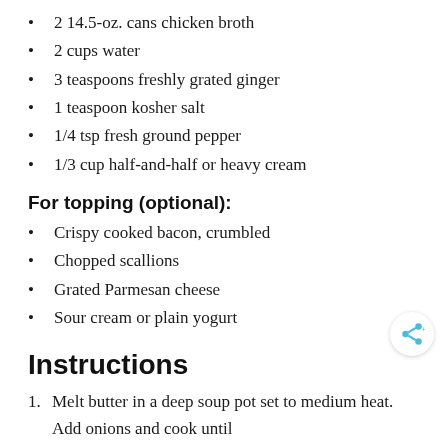2 14.5-oz. cans chicken broth
2 cups water
3 teaspoons freshly grated ginger
1 teaspoon kosher salt
1/4 tsp fresh ground pepper
1/3 cup half-and-half or heavy cream
For topping (optional):
Crispy cooked bacon, crumbled
Chopped scallions
Grated Parmesan cheese
Sour cream or plain yogurt
Instructions
Melt butter in a deep soup pot set to medium heat. Add onions and cook until